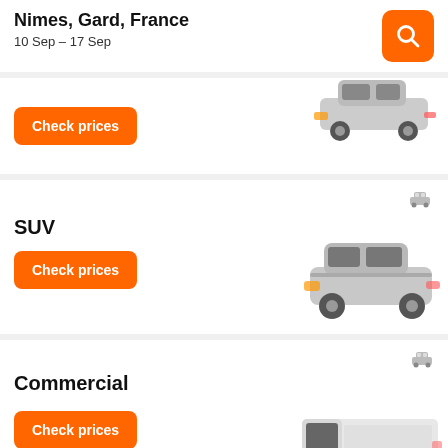Nimes, Gard, France
10 Sep – 17 Sep
[Figure (screenshot): Partially visible sedan car image at top of page]
Check prices
SUV
[Figure (photo): Silver SUV car image]
Check prices
Commercial
[Figure (photo): White commercial van image]
Check prices
Pick-up truck
[Figure (photo): Pick-up truck image partially visible at bottom]